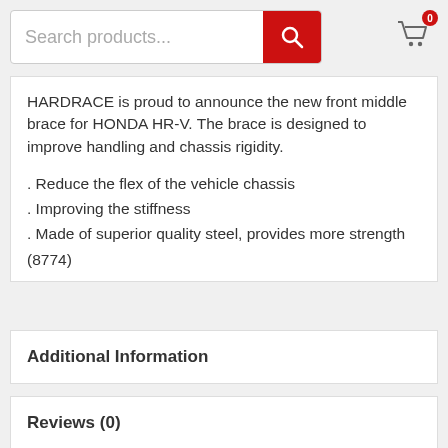Search products...
HARDRACE is proud to announce the new front middle brace for HONDA HR-V. The brace is designed to improve handling and chassis rigidity.
. Reduce the flex of the vehicle chassis
. Improving the stiffness
. Made of superior quality steel, provides more strength
(8774)
Additional Information
Reviews (0)